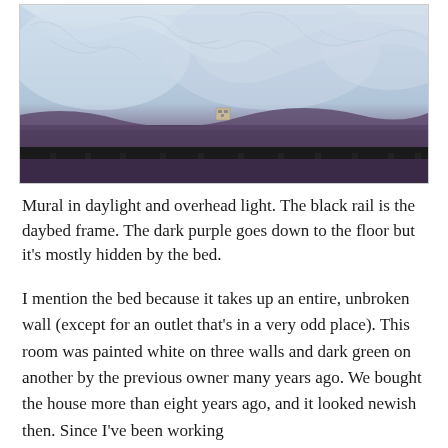[Figure (photo): A wall mural photographed in daylight and overhead light, showing a frosty or textured ice-like pattern in light blue and white tones on the upper portion, transitioning to dark purple at the bottom. A black metal daybed frame rail is visible along the bottom edge of the image. A small electrical outlet is visible on the wall just above the frame.]
Mural in daylight and overhead light. The black rail is the daybed frame. The dark purple goes down to the floor but it's mostly hidden by the bed.
I mention the bed because it takes up an entire, unbroken wall (except for an outlet that's in a very odd place). This room was painted white on three walls and dark green on another by the previous owner many years ago. We bought the house more than eight years ago, and it looked newish then. Since I've been working